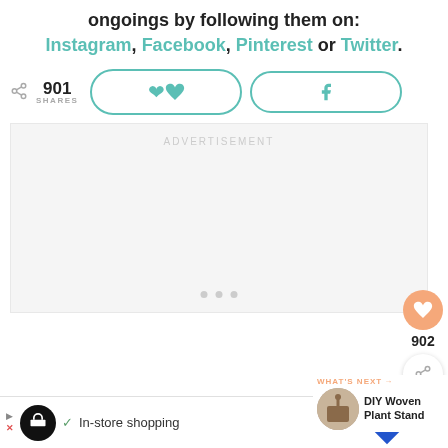ongoings by following them on:
Instagram, Facebook, Pinterest or Twitter.
901 SHARES
[Figure (screenshot): Pinterest and Facebook share buttons with rounded pill style borders in teal/green color]
[Figure (screenshot): Advertisement placeholder box with dots at the bottom and ADVERTISEMENT label]
[Figure (screenshot): Floating sidebar with heart/favorite button showing 902, and share icon button]
[Figure (screenshot): What's Next panel showing DIY Woven Plant Stand with thumbnail]
[Figure (screenshot): Bottom advertisement bar with In-store shopping text, icons and logos]